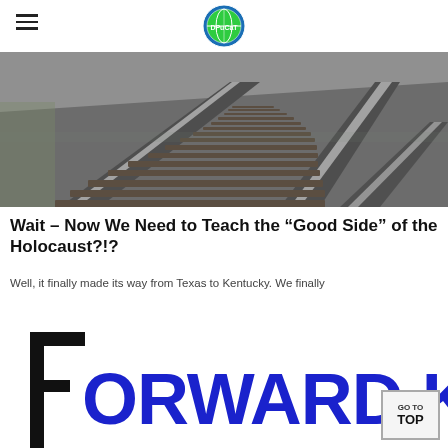DPuCaT logo and hamburger menu
[Figure (photo): Black and white photograph of railroad tracks with wooden ties, viewed from above and slightly to the side, with gravel and grass visible.]
Wait – Now We Need to Teach the “Good Side” of the Holocaust?!?
Well, it finally made its way from Texas to Kentucky. We finally
[Figure (logo): Forward Kentucky logo in large bold blue and black text on white background.]